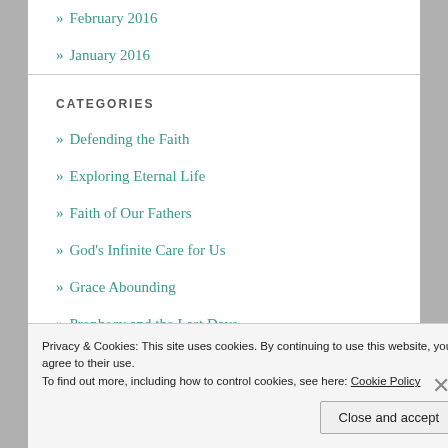» February 2016
» January 2016
CATEGORIES
» Defending the Faith
» Exploring Eternal Life
» Faith of Our Fathers
» God's Infinite Care for Us
» Grace Abounding
» Prophecy and the Last Days
» Sounding the Depths of Truth
Privacy & Cookies: This site uses cookies. By continuing to use this website, you agree to their use.
To find out more, including how to control cookies, see here: Cookie Policy
Close and accept